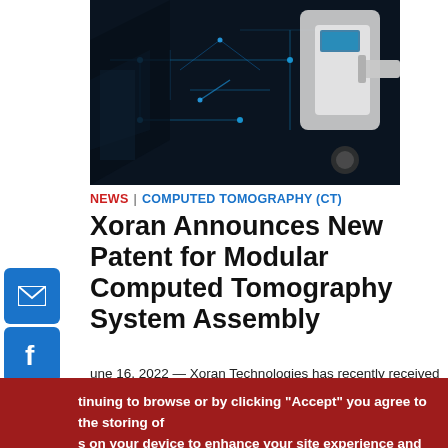[Figure (photo): CT scanner machine on dark background with circuit board pattern overlay. High-tech medical imaging equipment shown from below/side angle.]
NEWS | COMPUTED TOMOGRAPHY (CT)
Xoran Announces New Patent for Modular Computed Tomography System Assembly
June 16, 2022 — Xoran Technologies has recently received a
By continuing to browse or by clicking "Accept" you agree to the storing of cookies on your device to enhance your site experience and for analytical and marketing purposes.
To learn more about how we use cookies, please see our cookie policy.
I agree   No, thanks